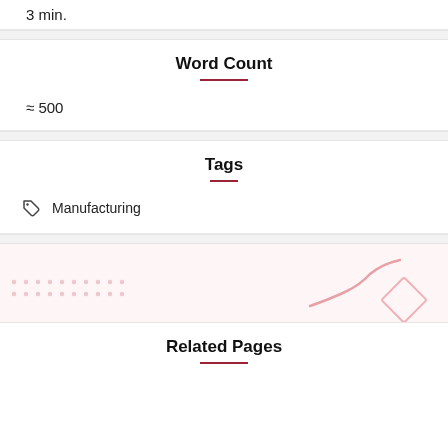3 min.
Word Count
≈ 500
Tags
Manufacturing
[Figure (illustration): Decorative background graphic with dotted grid pattern, a pink/red S-curve line, and a pink diamond shape]
Related Pages